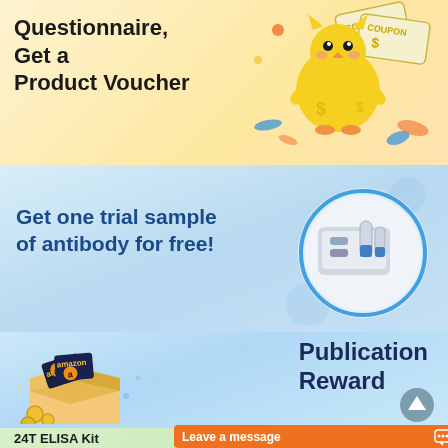[Figure (illustration): Promotional banner: 'Questionnaire, Get a Product Voucher' with a cartoon yellow character holding a coupon, orange/blue decorative elements on warm yellow background]
[Figure (illustration): Promotional banner: 'Get one trial sample of antibody for free!' on light blue background with a circular inset image of antibody/reagent vials and test equipment]
[Figure (illustration): Promotional banner: 'Publication Reward' on light blue background with illustration of an open box containing Amazon gift cards and coins]
[Figure (illustration): Partial banner showing '24T ELISA Kit' text on green gradient background, overlaid with orange 'Leave a message' chat button]